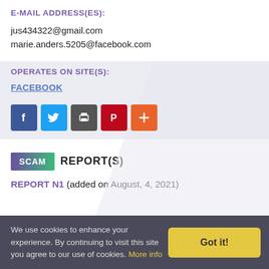E-MAIL ADDRESS(ES):
jus434322@gmail.com
marie.anders.5205@facebook.com
OPERATES ON SITE(S):
FACEBOOK
[Figure (other): Social share buttons: Facebook (blue), Twitter (light blue), Print (dark gray), Pinterest (red), More/plus (orange)]
SCAM REPORT(S)
REPORT N1 (added on August, 4, 2021)
We use cookies to enhance your experience. By continuing to visit this site you agree to our use of cookies. More info